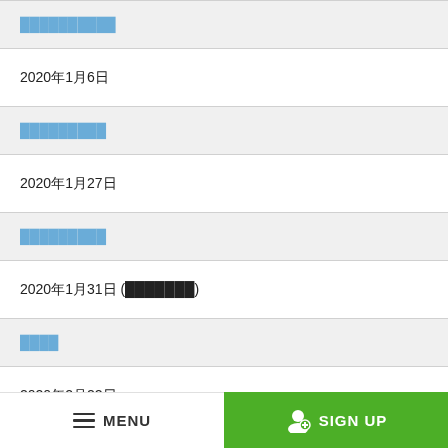██████████
2020年1月6日
█████████
2020年1月27日
█████████
2020年1月31日 (███████)
████
2020年2月22日
███████
2020年2月28日
MENU   SIGN UP